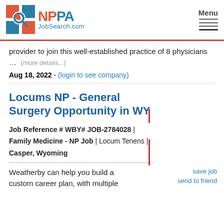NPPA JobSearch.com — Menu
provider to join this well-established practice of 8 physicians ... (more details...)
Aug 18, 2022 - (login to see company)
Locums NP - General Surgery Opportunity in WY
Job Reference # WBY# JOB-2784028 | Family Medicine - NP Job | Locum Tenens | Casper, Wyoming
Weatherby can help you build a custom career plan, with multiple
save job
send to friend